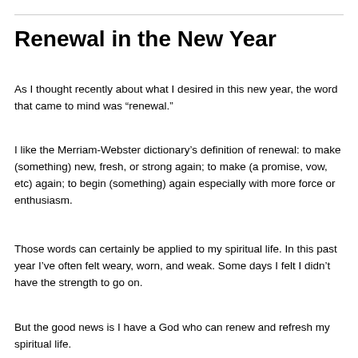Renewal in the New Year
As I thought recently about what I desired in this new year, the word that came to mind was “renewal.”
I like the Merriam-Webster dictionary’s definition of renewal: to make (something) new, fresh, or strong again; to make (a promise, vow, etc) again; to begin (something) again especially with more force or enthusiasm.
Those words can certainly be applied to my spiritual life. In this past year I’ve often felt weary, worn, and weak. Some days I felt I didn’t have the strength to go on.
But the good news is I have a God who can renew and refresh my spiritual life.